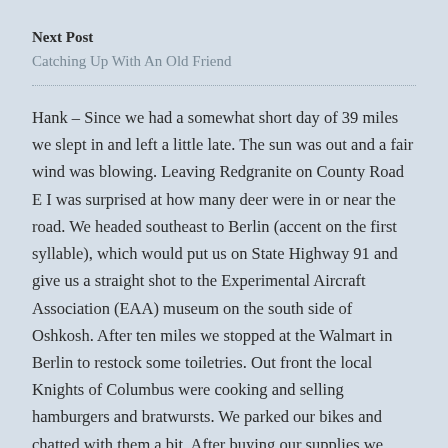Next Post
Catching Up With An Old Friend
Hank – Since we had a somewhat short day of 39 miles we slept in and left a little late. The sun was out and a fair wind was blowing. Leaving Redgranite on County Road E I was surprised at how many deer were in or near the road. We headed southeast to Berlin (accent on the first syllable), which would put us on State Highway 91 and give us a straight shot to the Experimental Aircraft Association (EAA) museum on the south side of Oshkosh. After ten miles we stopped at the Walmart in Berlin to restock some toiletries. Out front the local Knights of Columbus were cooking and selling hamburgers and bratwursts. We parked our bikes and chatted with them a bit. After buying our supplies we ordered up